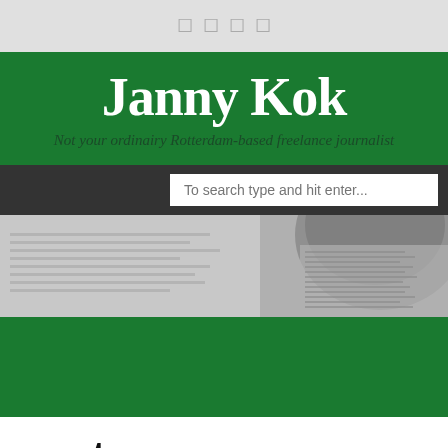☐ ☐ ☐ ☐
Janny Kok
Not your ordinairy Rotterdam-based freelance journalist
[Figure (screenshot): Search bar with placeholder text 'To search type and hit enter...' on a dark navigation bar]
[Figure (photo): Grayscale photo of a person reading a newspaper, partially visible]
ventures